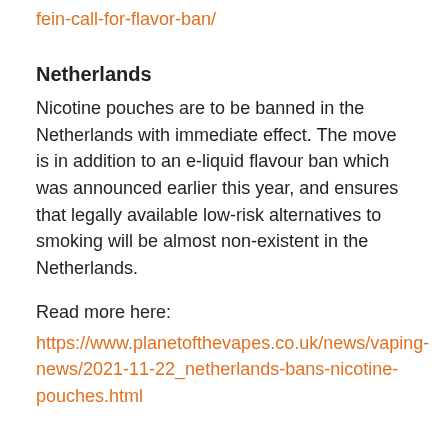fein-call-for-flavor-ban/
Netherlands
Nicotine pouches are to be banned in the Netherlands with immediate effect. The move is in addition to an e-liquid flavour ban which was announced earlier this year, and ensures that legally available low-risk alternatives to smoking will be almost non-existent in the Netherlands.
Read more here:
https://www.planetofthevapes.co.uk/news/vaping-news/2021-11-22_netherlands-bans-nicotine-pouches.html